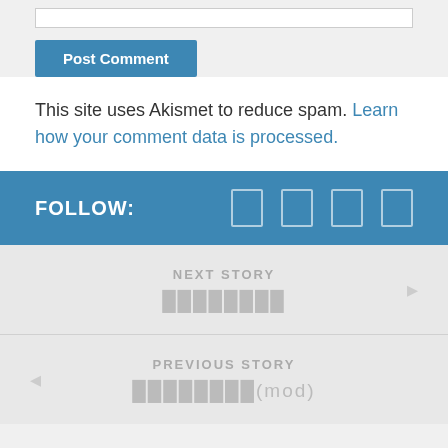Post Comment
This site uses Akismet to reduce spam. Learn how your comment data is processed.
FOLLOW:
NEXT STORY
████████
PREVIOUS STORY
████████(mod)